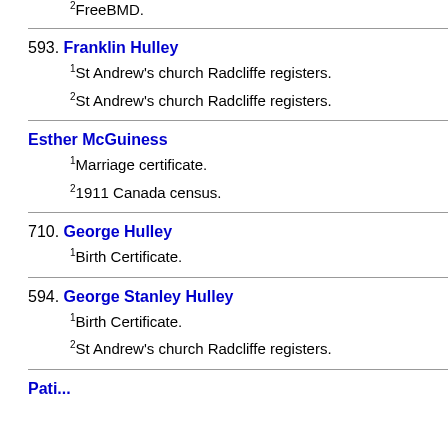2FreeBMD.
593. Franklin Hulley
1St Andrew's church Radcliffe registers.
2St Andrew's church Radcliffe registers.
Esther McGuiness
1Marriage certificate.
21911 Canada census.
710. George Hulley
1Birth Certificate.
594. George Stanley Hulley
1Birth Certificate.
2St Andrew's church Radcliffe registers.
Pati...